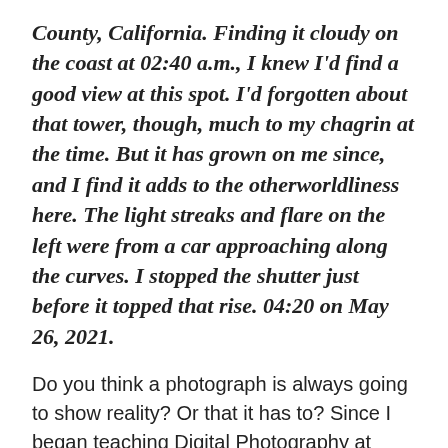County, California. Finding it cloudy on the coast at 02:40 a.m., I knew I'd find a good view at this spot. I'd forgotten about that tower, though, much to my chagrin at the time. But it has grown on me since, and I find it adds to the otherworldliness here. The light streaks and flare on the left were from a car approaching along the curves. I stopped the shutter just before it topped that rise. 04:20 on May 26, 2021.
Do you think a photograph is always going to show reality? Or that it has to? Since I began teaching Digital Photography at College of the Redwoods, a beginning class, I've noticed a common conception that